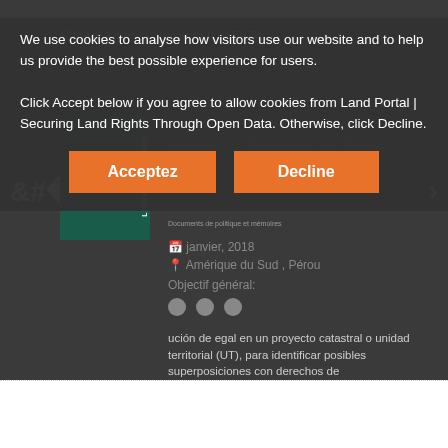Showing items 1 through 9 of 5974.
[Figure (screenshot): Book cover for Manual de Diagnóstico Físico Legal del Proceso de Rurales with dark green spine]
Manual de Diagnóstico Físico Legal del Proceso de Rurales
Documents de politique et mémoires
janvier, 2018
Amérique du Sud , Pérou
Objectif général:
ución de egal en un proyecto catastral o unidad territorial (UT), para identificar posibles superposiciones con derechos de
We use cookies to analyse how visitors use our website and to help us provide the best possible experience for users. Click Accept below if you agree to allow cookies from Land Portal | Securing Land Rights Through Open Data. Otherwise, click Decline.
Acceptez
Decline
[Figure (screenshot): Book cover thumbnail for 'In the Face of Threats and Invasions in the Forests, Communities Defend and Reclaim Their Life Spaces']
In the Face of Threats and Invasions in the Forests, Communities Defend and Reclaim Their Life Spaces